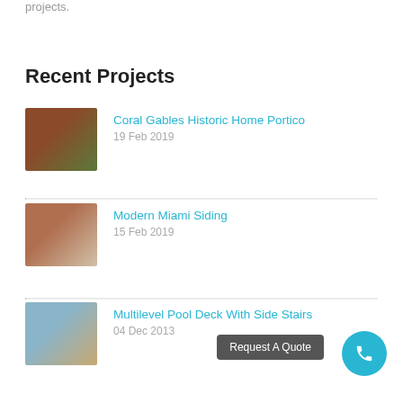projects.
Recent Projects
Coral Gables Historic Home Portico
19 Feb 2019
Modern Miami Siding
15 Feb 2019
Multilevel Pool Deck With Side Stairs
04 Dec 2013
Request A Quote